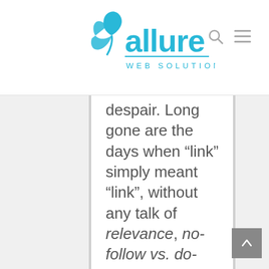[Figure (logo): Allure Web Solutions logo in blue with stylized 'alure' text and 'WEB SOLUTIONS' subtitle]
despair. Long gone are the days when “link” simply meant “link”, without any talk of relevance, no-follow vs. do-follow, above-the-fold and god knows what else. If you want to improve your marketing game, try checking this article with the best paid seo tools, it might be just what you need.

SEO is a critical pillar in the